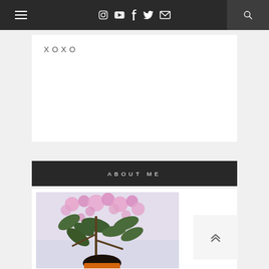Navigation bar with hamburger menu, social icons (Instagram, YouTube, Facebook, Twitter, Email), and search button
XOXO
ABOUT ME
[Figure (photo): Person partially visible behind flowering pink blossoms and green leaves, wearing an orange garment]